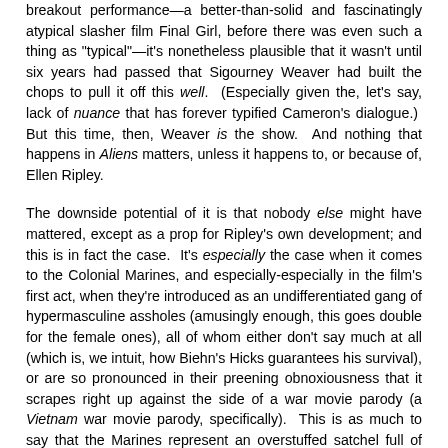breakout performance—a better-than-solid and fascinatingly atypical slasher film Final Girl, before there was even such a thing as "typical"—it's nonetheless plausible that it wasn't until six years had passed that Sigourney Weaver had built the chops to pull it off this well. (Especially given the, let's say, lack of nuance that has forever typified Cameron's dialogue.) But this time, then, Weaver is the show. And nothing that happens in Aliens matters, unless it happens to, or because of, Ellen Ripley.
The downside potential of it is that nobody else might have mattered, except as a prop for Ripley's own development; and this is in fact the case. It's especially the case when it comes to the Colonial Marines, and especially-especially in the film's first act, when they're introduced as an undifferentiated gang of hypermasculine assholes (amusingly enough, this goes double for the female ones), all of whom either don't say much at all (which is, we intuit, how Biehn's Hicks guarantees his survival), or are so pronounced in their preening obnoxiousness that it scrapes right up against the side of a war movie parody (a Vietnam war movie parody, specifically). This is as much to say that the Marines represent an overstuffed satchel full of meat that